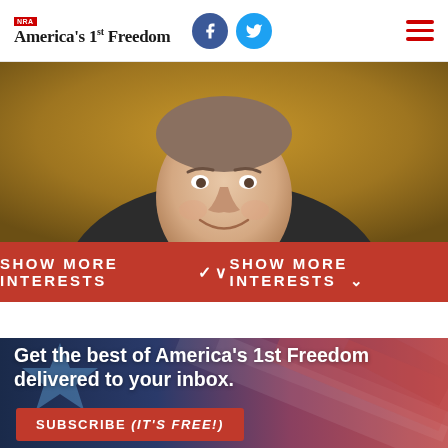NRA America's 1st Freedom
[Figure (photo): Portrait photo of a man in a suit with a golden/amber background, cropped to show face and upper body]
SHOW MORE INTERESTS ▼
Get the best of America's 1st Freedom delivered to your inbox.
SUBSCRIBE (IT'S FREE!)